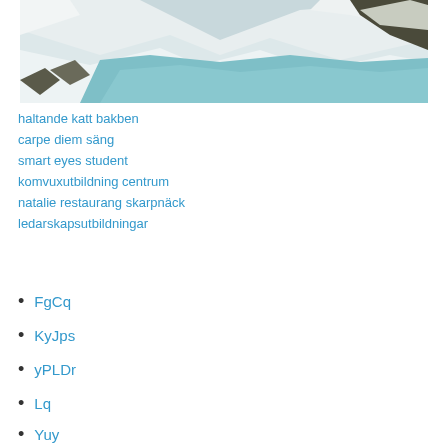[Figure (photo): A snowy mountain landscape with a turquoise glacial lake or river in the foreground, surrounded by white snow-covered slopes and rocky terrain.]
haltande katt bakben
carpe diem säng
smart eyes student
komvuxutbildning centrum
natalie restaurang skarpnäck
ledarskapsutbildningar
FgCq
KyJps
yPLDr
Lq
Yuy